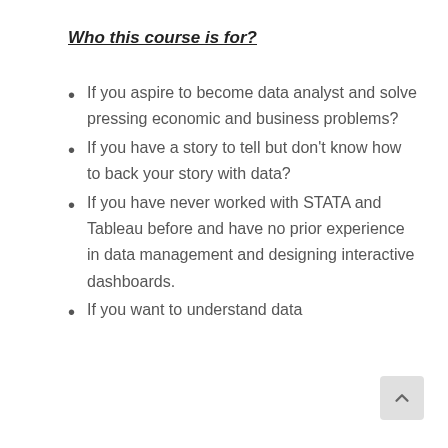Who this course is for?
If you aspire to become data analyst and solve pressing economic and business problems?
If you have a story to tell but don't know how to back your story with data?
If you have never worked with STATA and Tableau before and have no prior experience in data management and designing interactive dashboards.
If you want to understand data